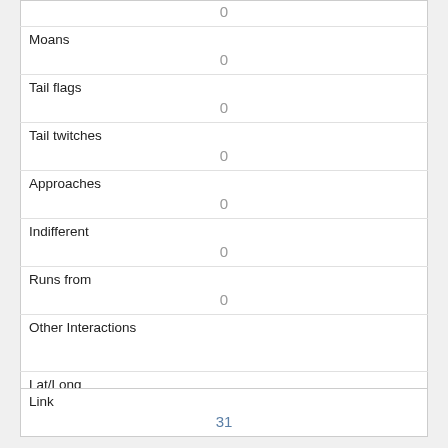|  | 0 |
| Moans | 0 |
| Tail flags | 0 |
| Tail twitches | 0 |
| Approaches | 0 |
| Indifferent | 0 |
| Runs from | 0 |
| Other Interactions |  |
| Lat/Long | POINT (-73.9539734770934 40.7956055442) |
| Link | 31 |